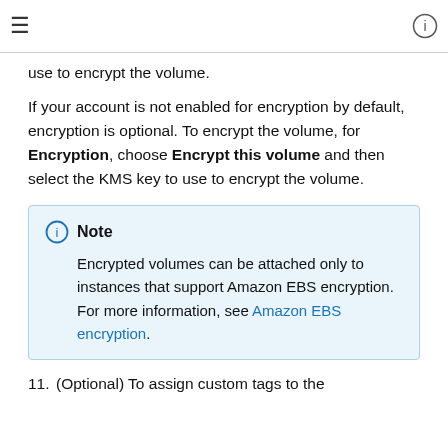≡  ⓘ
use to encrypt the volume.
If your account is not enabled for encryption by default, encryption is optional. To encrypt the volume, for Encryption, choose Encrypt this volume and then select the KMS key to use to encrypt the volume.
Note
Encrypted volumes can be attached only to instances that support Amazon EBS encryption. For more information, see Amazon EBS encryption.
11. (Optional) To assign custom tags to the